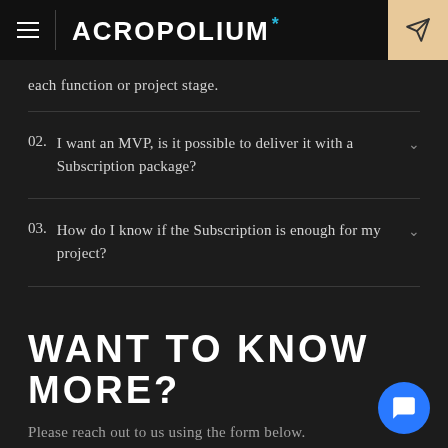Acropolium*
each function or project stage.
02. I want an MVP, is it possible to deliver it with a Subscription package?
03. How do I know if the Subscription is enough for my project?
WANT TO KNOW MORE?
Please reach out to us using the form below.